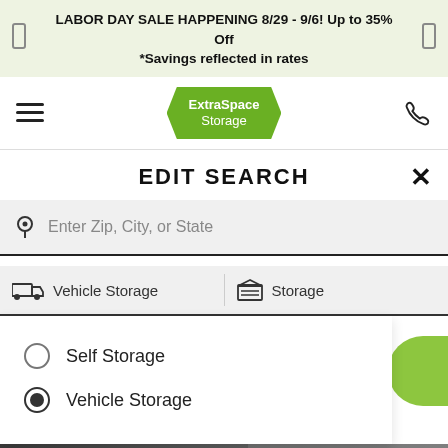LABOR DAY SALE HAPPENING 8/29 - 9/6! Up to 35% Off *Savings reflected in rates
[Figure (logo): Extra Space Storage logo and navigation bar with hamburger menu and phone icon]
EDIT SEARCH
Enter Zip, City, or State
Vehicle Storage
Storage
Self Storage
Vehicle Storage (selected)
606 S Staley Rd
Ste E